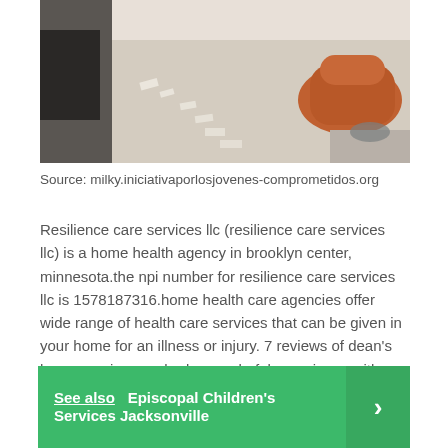[Figure (photo): Interior room with sunlight, modern orange chair, white walls and light colored floor]
Source: milky.iniciativaporlosjovenes-comprometidos.org
Resilience care services llc (resilience care services llc) is a home health agency in brooklyn center, minnesota.the npi number for resilience care services llc is 1578187316.home health care agencies offer wide range of health care services that can be given in your home for an illness or injury. 7 reviews of dean's home services we had a wonderful experience with brad from dean's professional plumbing.
See also  Episcopal Children's Services Jacksonville